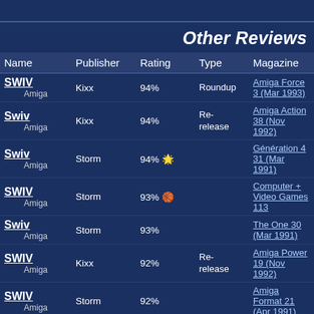Other Reviews
| Name | Publisher | Rating | Type | Magazine |
| --- | --- | --- | --- | --- |
| SWIV
Amiga | Kixx | 94% | Roundup | Amiga Force 3 (Mar 1993) |
| Swiv
Amiga | Kixx | 94% | Re-release | Amiga Action 38 (Nov 1992) |
| Swiv
Amiga | Storm | 94% 🌟 |  | Génération 4 31 (Mar 1991) |
| SWIV
Amiga | Storm | 93% 🎯 |  | Computer + Video Games 113 |
| Swiv
Amiga | Storm | 93% |  | The One 30 (Mar 1991) |
| SWIV
Amiga | Kixx | 92% | Re-release | Amiga Power 19 (Nov 1992) |
| SWIV
Amiga | Storm | 92% |  | Amiga Format 21 (Apr 1991) |
| SWIV
Amiga | Storm | 91% |  | Amiga Action 20 (May 1991) |